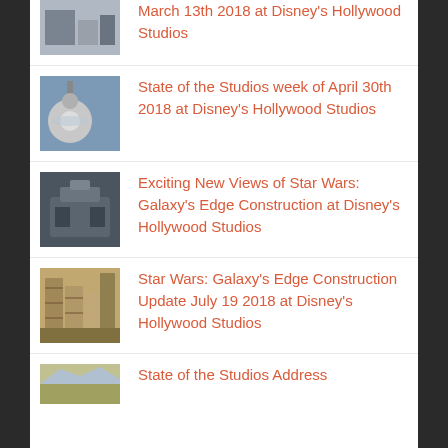Star Wars: Galaxy's Edge Update March 13th 2018 at Disney's Hollywood Studios
State of the Studios week of April 30th 2018 at Disney's Hollywood Studios
Exciting New Views of Star Wars: Galaxy's Edge Construction at Disney's Hollywood Studios
Star Wars: Galaxy's Edge Construction Update July 19 2018 at Disney's Hollywood Studios
State of the Studios Address